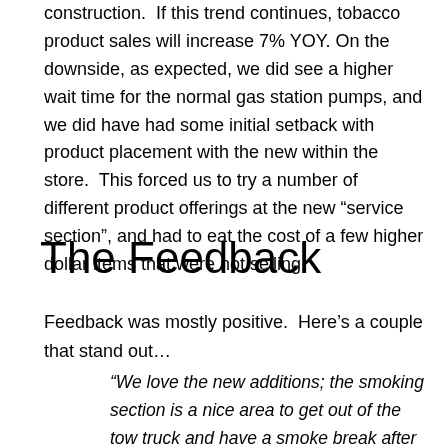construction.  If this trend continues, tobacco product sales will increase 7% YOY. On the downside, as expected, we did see a higher wait time for the normal gas station pumps, and we did have had some initial setback with product placement with the new within the store.  This forced us to try a number of different product offerings at the new “service section”, and had to eat the cost of a few higher dollar items that were not selling.
The Feedback
Feedback was mostly positive.  Here’s a couple that stand out…
“We love the new additions; the smoking section is a nice area to get out of the tow truck and have a smoke break after filling up and eating lunch.  Diesel pumps are not as congested at lunch.” Willis Banks, Straight